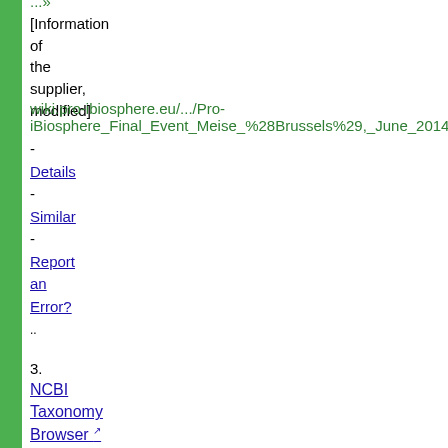pro-iBiosphere project in a series of activities. The Final Event will ...» [Information of the supplier, modified]
wiki.pro-ibiosphere.eu/.../Pro-iBiosphere_Final_Event_Meise_%28Brussels%29,_June_2014
- Details - Similar - Report an Error? ..
3. NCBI Taxonomy Browser
The